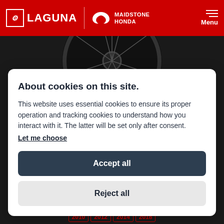LAGUNA | MAIDSTONE HONDA | Menu
[Figure (photo): Close-up of a motorcycle wheel with spokes on dark background]
About cookies on this site.
This website uses essential cookies to ensure its proper operation and tracking cookies to understand how you interact with it. The latter will be set only after consent.
Let me choose
Accept all
Reject all
2010 2012 2014 2018